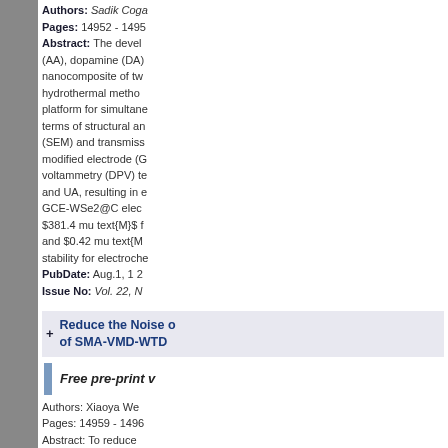Authors: Sadik Coga...
Pages: 14952 - 14955
Abstract: The devel... (AA), dopamine (DA)... nanocomposite of tw... hydrothermal metho... platform for simultane... terms of structural an... (SEM) and transmiss... modified electrode (G... voltammetry (DPV) te... and UA, resulting in e... GCE-WSe2@C elec... $381.4 mu text{M}$ f... and $0.42 mu text{M... stability for electroche...
PubDate: Aug.1, 1 2...
Issue No: Vol. 22, N...
Reduce the Noise o... of SMA-VMD-WTD
Free pre-print v...
Authors: Xiaoya We...
Pages: 14959 - 1496
Abstract: To reduce... resolution of abnorma... (SMA) optimized Van... WTD) was proposed...